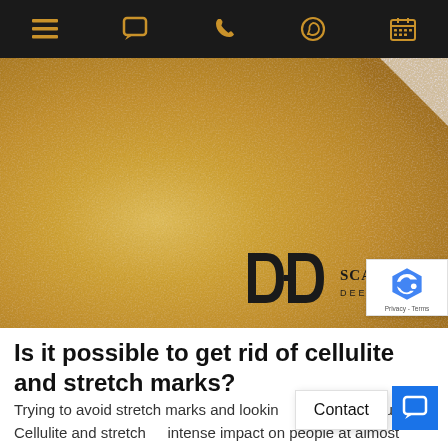Navigation bar with menu, chat, phone, WhatsApp, and calendar icons
[Figure (photo): Gold textured background with 'DD' logo and text 'SCARLESS ME DEEPAK DUGA' partially visible]
Is it possible to get rid of cellulite and stretch marks?
Trying to avoid stretch marks and looking of stubborn cellulite? Cellulite and stretch ar intense impact on people at almost every age and weight.